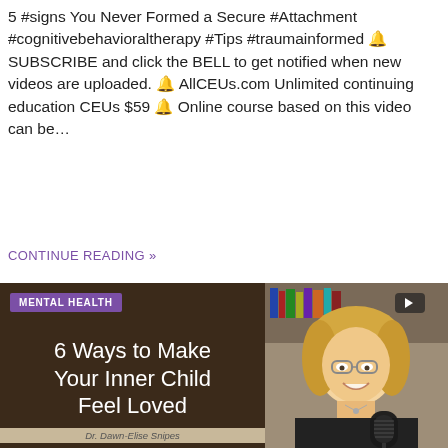5 #signs You Never Formed a Secure #Attachment #cognitivebehavioraltherapy #Tips #traumainformed 🔔 SUBSCRIBE and click the BELL to get notified when new videos are uploaded. 🔔 AllCEUs.com Unlimited continuing education CEUs $59 🔔 Online course based on this video can be...
CONTINUE READING »
[Figure (photo): Card image split: left side shows dark brown background with purple 'MENTAL HEALTH' badge and white title '6 Ways to Make Your Inner Child Feel Loved' with author 'Dr. Dawn-Elise Snipes' on a tan/beige strip at the bottom; right side shows a smiling blonde woman with glasses wearing a black top, seated in front of a bookshelf with a microphone in the foreground.]